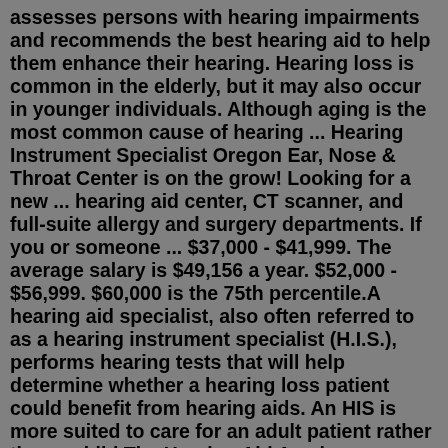assesses persons with hearing impairments and recommends the best hearing aid to help them enhance their hearing. Hearing loss is common in the elderly, but it may also occur in younger individuals. Although aging is the most common cause of hearing ... Hearing Instrument Specialist Oregon Ear, Nose & Throat Center is on the grow! Looking for a new ... hearing aid center, CT scanner, and full-suite allergy and surgery departments. If you or someone ... $37,000 - $41,999. The average salary is $49,156 a year. $52,000 - $56,999. $60,000 is the 75th percentile.A hearing aid specialist, also often referred to as a hearing instrument specialist (H.I.S.), performs hearing tests that will help determine whether a hearing loss patient could benefit from hearing aids. An HIS is more suited to care for an adult patient rather than a child.The Hearing Aid Academy (www.hearingaidacademy.com) was founded in 2007 and has since then helped thousands of people pursue a career as a hearing aid specialist. It is the most complete hea...